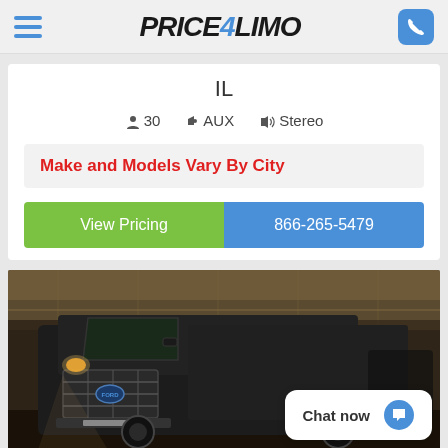[Figure (logo): Price4Limo logo with hamburger menu and phone icon in header]
IL
30  AUX  Stereo
Make and Models Vary By City
View Pricing
866-265-5479
[Figure (photo): Black Ford van/shuttle bus photographed at an airport or transit facility at night, headlights on]
Chat now